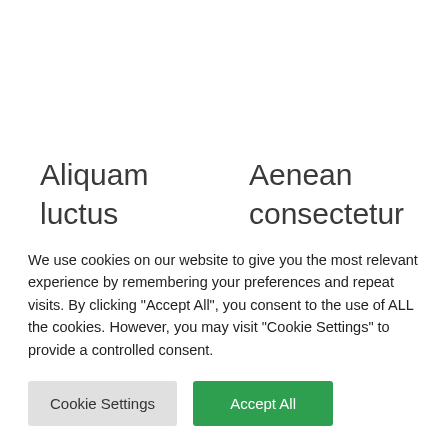Aliquam luctus sem massa
Aenean consectetur tempor metus,
Nam lacinia arcu
eget ut sapien
We use cookies on our website to give you the most relevant experience by remembering your preferences and repeat visits. By clicking "Accept All", you consent to the use of ALL the cookies. However, you may visit "Cookie Settings" to provide a controlled consent.
Cookie Settings
Accept All